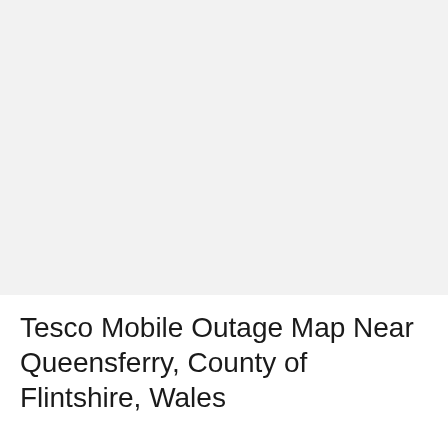[Figure (map): A blank/loading map area showing a light gray background, representing a Tesco Mobile outage map near Queensferry, County of Flintshire, Wales.]
Tesco Mobile Outage Map Near Queensferry, County of Flintshire, Wales